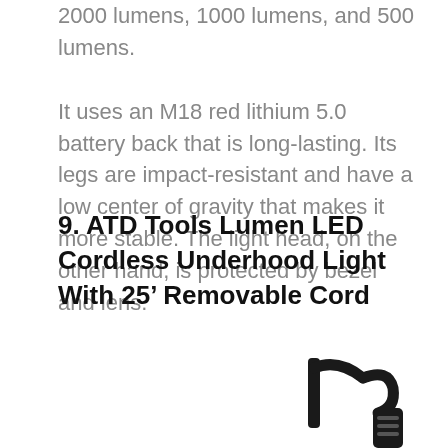2000 lumens, 1000 lumens, and 500 lumens. It uses an M18 red lithium 5.0 battery back that is long-lasting. Its legs are impact-resistant and have a low center of gravity that makes it more stable. The light head, on the other hand, is protected by bezel and lens.
9. ATD Tools Lumen LED Cordless Underhood Light With 25’ Removable Cord
[Figure (illustration): Partial image of ATD Tools underhood light, showing the hook/hanging mechanism of the light in black silhouette, cropped at the bottom right of the page.]